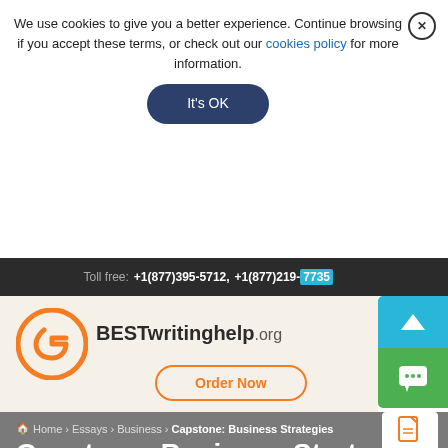We use cookies to give you a better experience. Continue browsing if you accept these terms, or check out our cookies policy for more information.
It's OK
Toll free: +1(877)395-5712, +1(877)219-7735
[Figure (logo): BESTwritinghelp.org logo with orange circular G icon]
Order Now
Home › Essays › Business › Capstone: Business Strategies
Capstone: Business Strategies